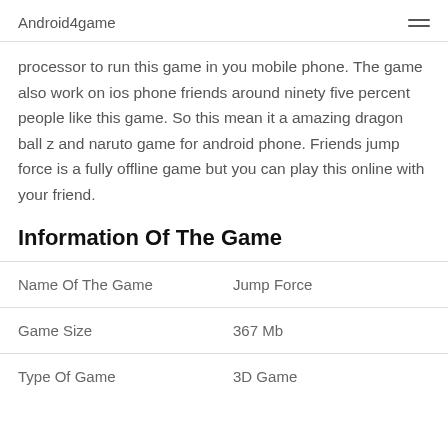Android4game
processor to run this game in you mobile phone. The game also work on ios phone friends around ninety five percent people like this game. So this mean it a amazing dragon ball z and naruto game for android phone. Friends jump force is a fully offline game but you can play this online with your friend.
Information Of The Game
|  |  |
| --- | --- |
| Name Of The Game | Jump Force |
| Game Size | 367 Mb |
| Type Of Game | 3D Game |